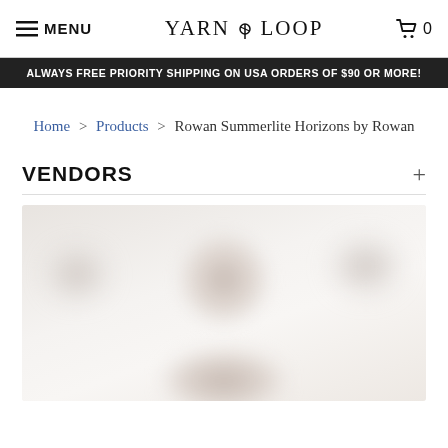MENU  YARN LOOP  0
ALWAYS FREE PRIORITY SHIPPING ON USA ORDERS OF $90 OR MORE!
Home > Products > Rowan Summerlite Horizons by Rowan
VENDORS
[Figure (photo): Blurred product photo of a knitting/yarn book cover for Rowan Summerlite Horizons by Rowan]